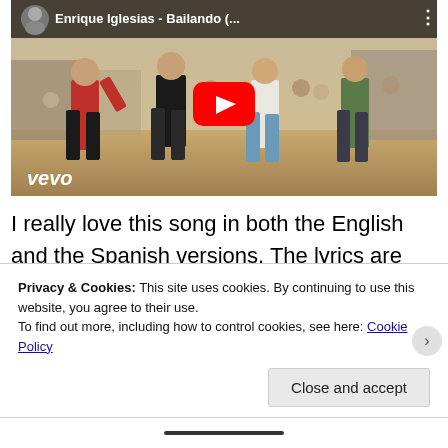[Figure (screenshot): YouTube video thumbnail for Enrique Iglesias - Bailando music video, showing men running in a street scene with a vevo logo and red YouTube play button]
I really love this song in both the English and the Spanish versions. The lyrics are pretty straightforward and telling of man falling in
Privacy & Cookies: This site uses cookies. By continuing to use this website, you agree to their use.
To find out more, including how to control cookies, see here: Cookie Policy
Close and accept